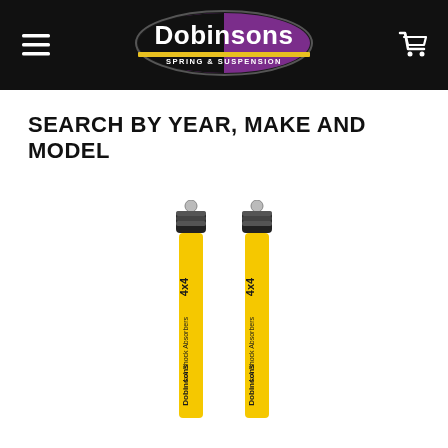[Figure (logo): Dobinsons Spring and Suspension logo — oval shape with black and purple background, white bold text 'Dobinsons', yellow stripe, smaller text 'SPRING & SUSPENSION']
SEARCH BY YEAR, MAKE AND MODEL
[Figure (photo): Two yellow Dobinsons 4x4 shock absorbers standing upright side by side, with black metal top caps and ball studs, yellow cylindrical bodies with 'Dobinsons 4x4 Shock Absorbers' text printed vertically in black]